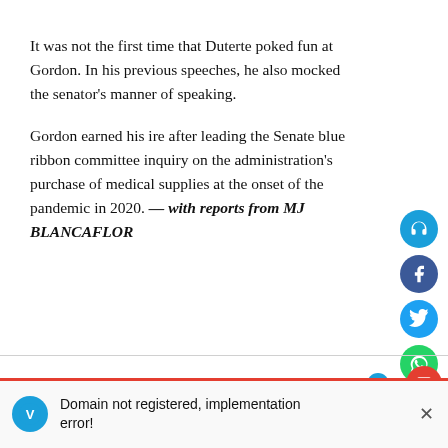It was not the first time that Duterte poked fun at Gordon. In his previous speeches, he also mocked the senator's manner of speaking.
Gordon earned his ire after leading the Senate blue ribbon committee inquiry on the administration's purchase of medical supplies at the onset of the pandemic in 2020. — with reports from MJ BLANCAFLOR
What is your reaction? Powered by [Vuukle]
Domain not registered, implementation error!